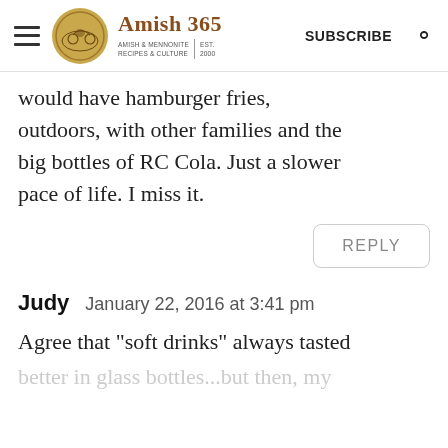Amish 365 AMISH & MENNONITE RECIPES & CULTURE | EST. 2000 SUBSCRIBE
would have hamburger fries, outdoors, with other families and the big bottles of RC Cola. Just a slower pace of life. I miss it.
REPLY
Judy   January 22, 2016 at 3:41 pm
Agree that "soft drinks" always tasted better in glass bottles...but then, my